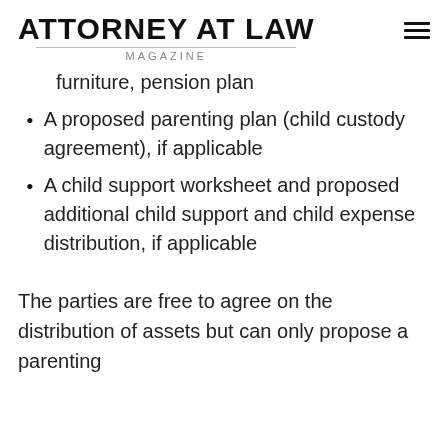ATTORNEY AT LAW MAGAZINE
furniture, pension plan
A proposed parenting plan (child custody agreement), if applicable
A child support worksheet and proposed additional child support and child expense distribution, if applicable
The parties are free to agree on the distribution of assets but can only propose a parenting